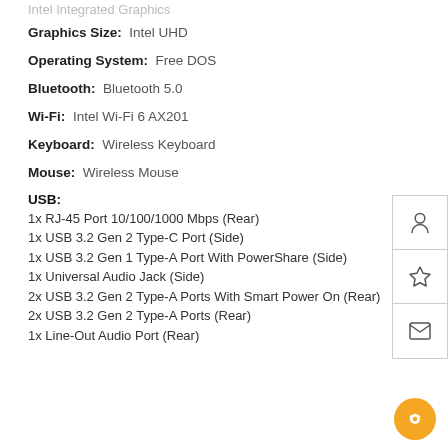Intel Integrated Graphics
Graphics Size: Intel UHD
Operating System: Free DOS
Bluetooth: Bluetooth 5.0
Wi-Fi: Intel Wi-Fi 6 AX201
Keyboard: Wireless Keyboard
Mouse: Wireless Mouse
USB:
1x RJ-45 Port 10/100/1000 Mbps (Rear)
1x USB 3.2 Gen 2 Type-C Port (Side)
1x USB 3.2 Gen 1 Type-A Port With PowerShare (Side)
1x Universal Audio Jack (Side)
2x USB 3.2 Gen 2 Type-A Ports With Smart Power On (Rear)
2x USB 3.2 Gen 2 Type-A Ports (Rear)
1x Line-Out Audio Port (Rear)